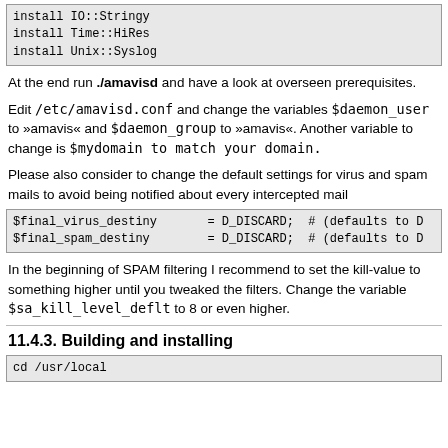install IO::Stringy
install Time::HiRes
install Unix::Syslog
At the end run ./amavisd and have a look at overseen prerequisites.
Edit /etc/amavisd.conf and change the variables $daemon_user to »amavis« and $daemon_group to »amavis«. Another variable to change is $mydomain to match your domain.
Please also consider to change the default settings for virus and spam mails to avoid being notified about every intercepted mail
$final_virus_destiny       = D_DISCARD;  # (defaults to D
$final_spam_destiny        = D_DISCARD;  # (defaults to D
In the beginning of SPAM filtering I recommend to set the kill-value to something higher until you tweaked the filters. Change the variable $sa_kill_level_deflt to 8 or even higher.
11.4.3. Building and installing
cd /usr/local